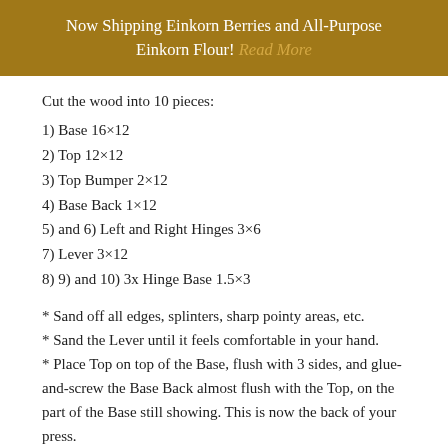Now Shipping Einkorn Berries and All-Purpose Einkorn Flour! Read More
Cut the wood into 10 pieces:
1) Base 16×12
2) Top 12×12
3) Top Bumper 2×12
4) Base Back 1×12
5) and 6) Left and Right Hinges 3×6
7) Lever 3×12
8) 9) and 10) 3x Hinge Base 1.5×3
* Sand off all edges, splinters, sharp pointy areas, etc.
* Sand the Lever until it feels comfortable in your hand.
* Place Top on top of the Base, flush with 3 sides, and glue-and-screw the Base Back almost flush with the Top, on the part of the Base still showing. This is now the back of your press.